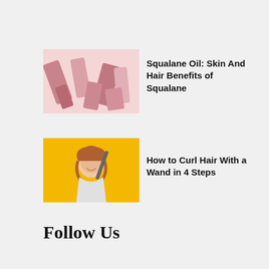[Figure (photo): Thumbnail image of pink beauty/cosmetic products on white background]
Squalane Oil: Skin And Hair Benefits of Squalane
[Figure (photo): Thumbnail image of a woman curling her hair on a yellow background]
How to Curl Hair With a Wand in 4 Steps
Follow Us